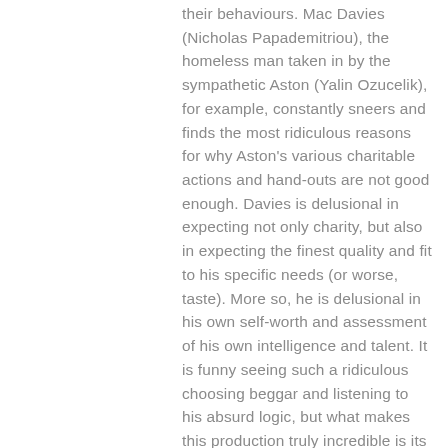their behaviours. Mac Davies (Nicholas Papademitriou), the homeless man taken in by the sympathetic Aston (Yalin Ozucelik), for example, constantly sneers and finds the most ridiculous reasons for why Aston's various charitable actions and hand-outs are not good enough. Davies is delusional in expecting not only charity, but also in expecting the finest quality and fit to his specific needs (or worse, taste). More so, he is delusional in his own self-worth and assessment of his own intelligence and talent. It is funny seeing such a ridiculous choosing beggar and listening to his absurd logic, but what makes this production truly incredible is its very serious edge.